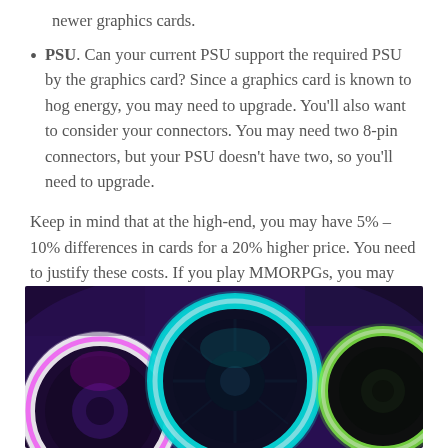newer graphics cards.
PSU. Can your current PSU support the required PSU by the graphics card? Since a graphics card is known to hog energy, you may need to upgrade. You'll also want to consider your connectors. You may need two 8-pin connectors, but your PSU doesn't have two, so you'll need to upgrade.
Keep in mind that at the high-end, you may have 5% – 10% differences in cards for a 20% higher price. You need to justify these costs. If you play MMORPGs, you may not need to spend more on a card that is faster because you won't be able to utilize the excess power.
[Figure (photo): Photo of three RGB computer cooling fans glowing in blue, teal, and multicolor light in a dark PC case interior.]